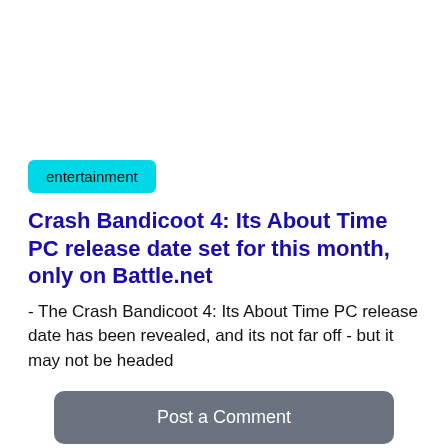entertainment
Crash Bandicoot 4: Its About Time PC release date set for this month, only on Battle.net
- The Crash Bandicoot 4: Its About Time PC release date has been revealed, and its not far off - but it may not be headed
Post a Comment
Category